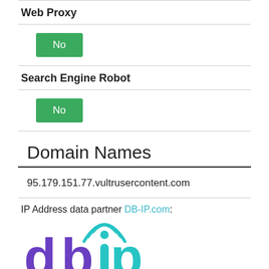Web Proxy
No
Search Engine Robot
No
Domain Names
95.179.151.77.vultrusercontent.com
IP Address data partner DB-IP.com:
[Figure (logo): DB-IP logo with stylized 'dbip' text in purple and teal, with wifi/signal arc icon above the 'i' in teal]